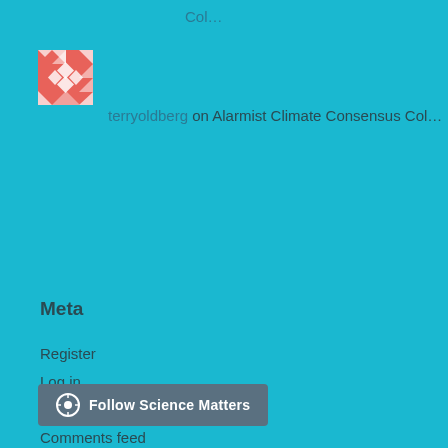Col…
[Figure (logo): Red decorative avatar icon with diamond and triangle pattern]
terryoldberg on Alarmist Climate Consensus Col…
Meta
Register
Log in
Entries feed
Comments feed
WordPress.com
[Figure (logo): WordPress Follow Science Matters button]